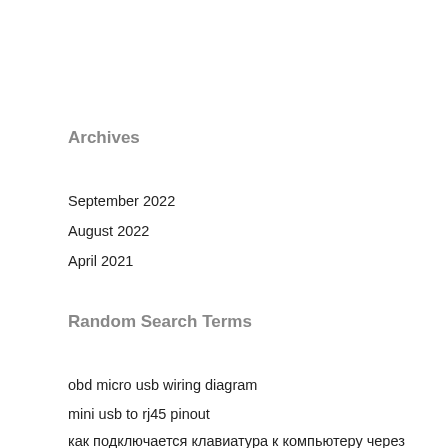Archives
September 2022
August 2022
April 2021
Random Search Terms
obd micro usb wiring diagram
mini usb to rj45 pinout
как подключается клавиатура к компьютеру через